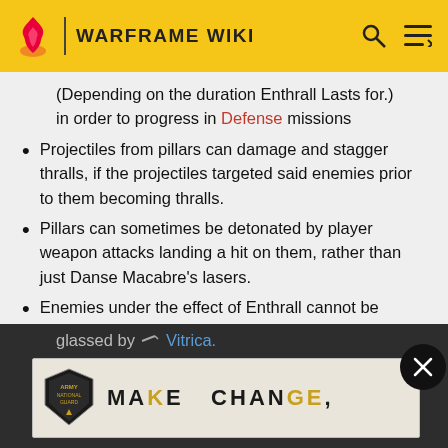WARFRAME WIKI
(Depending on the duration Enthrall Lasts for.) in order to progress in Defense missions
Projectiles from pillars can damage and stagger thralls, if the projectiles targeted said enemies prior to them becoming thralls.
Pillars can sometimes be detonated by player weapon attacks landing a hit on them, rather than just Danse Macabre's lasers.
Enemies under the effect of Enthrall cannot be glassed by Vitrica.
[Figure (screenshot): Army National Guard advertisement banner with text 'MAKE CHANGE,' where K and GE are highlighted in yellow/gold]